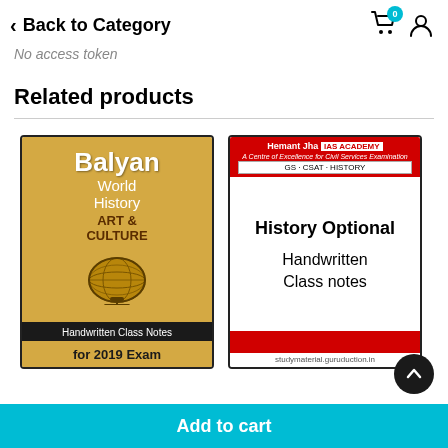< Back to Category
No access token
Related products
[Figure (illustration): Book cover: Balyan World History ART & CULTURE Handwritten Class Notes for 2019 Exam, with globe illustration, tan/gold background]
[Figure (illustration): Book cover: Hemant Jha IAS Academy - History Optional Handwritten Class notes, white background with red header and footer bars]
Add to cart